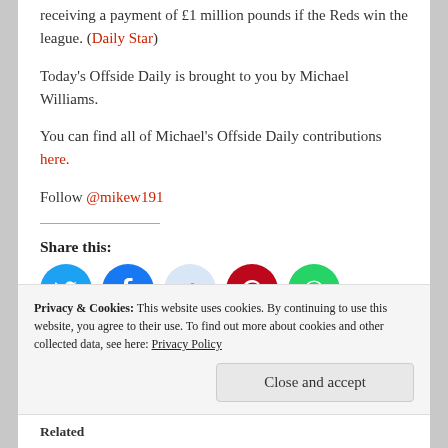receiving a payment of £1 million pounds if the Reds win the league. (Daily Star)
Today's Offside Daily is brought to you by Michael Williams.
You can find all of Michael's Offside Daily contributions here.
Follow @mikew191
Share this:
[Figure (infographic): Social media share icons: Twitter, Facebook, Reddit, Pinterest, WhatsApp]
Privacy & Cookies: This website uses cookies. By continuing to use this website, you agree to their use. To find out more about cookies and other collected data, see here: Privacy Policy
Close and accept
Related